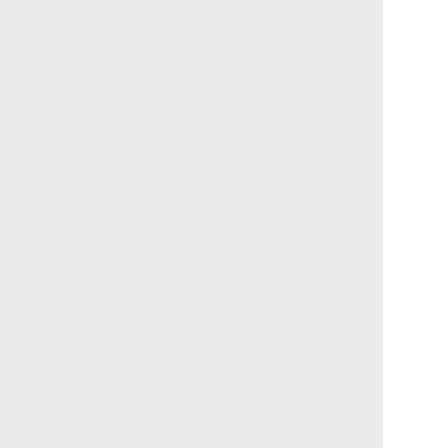material. From October to February, they mostly fruit. They are most likely to eat animal matter d fruits, mainly cherries and prunes, as well as oth These birds also eat insects including beetles, b Western scrub-jays may prey on animals includi California slender salamanders, and reptiles suc they live, their bills have different shapes to help have deep, hooked bills, which helps them eat m have a more pointed bill, which helps them oper ground, but they may also hide them under rock leaves. (Clayton, 2002; Curry, 2002; Dunn and T
Primary Diet: carnivore ( eats terrestrial w insect arthropods ) ; herbivore ( frugivore
Animal Foods: birds ; amphibians ; reptiles ;
Plant Foods: seeds, grains, and nuts ; fruit
Foraging Behavior: stores or caches food
What eats them and how eaten?
Western scrub-jays use high-pitched vocaliza